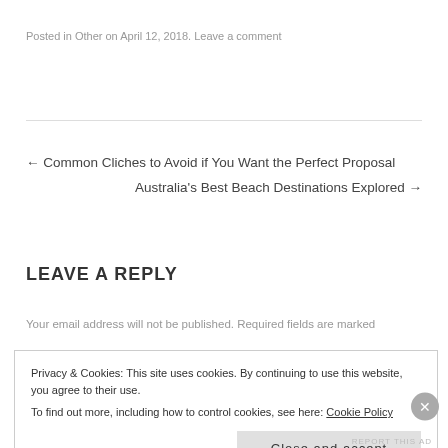Posted in Other on April 12, 2018. Leave a comment
← Common Cliches to Avoid if You Want the Perfect Proposal
Australia's Best Beach Destinations Explored →
LEAVE A REPLY
Your email address will not be published. Required fields are marked
Privacy & Cookies: This site uses cookies. By continuing to use this website, you agree to their use.
To find out more, including how to control cookies, see here: Cookie Policy
Close and accept
REPORT THIS AD